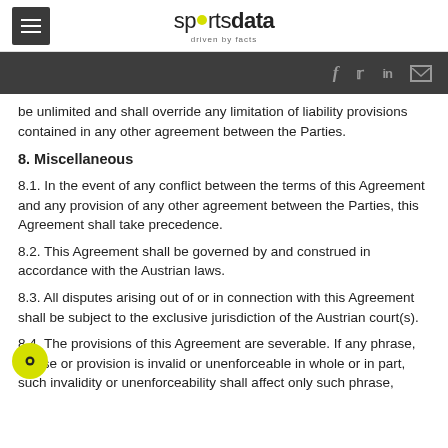sportsdata driven by facts
be unlimited and shall override any limitation of liability provisions contained in any other agreement between the Parties.
8. Miscellaneous
8.1. In the event of any conflict between the terms of this Agreement and any provision of any other agreement between the Parties, this Agreement shall take precedence.
8.2. This Agreement shall be governed by and construed in accordance with the Austrian laws.
8.3. All disputes arising out of or in connection with this Agreement shall be subject to the exclusive jurisdiction of the Austrian court(s).
8.4. The provisions of this Agreement are severable. If any phrase, clause or provision is invalid or unenforceable in whole or in part, such invalidity or unenforceability shall affect only such phrase,